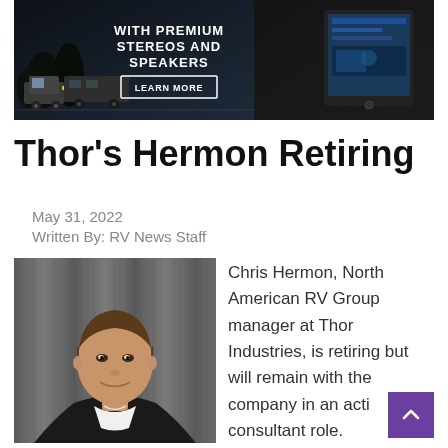[Figure (illustration): Advertisement banner for premium stereos and speakers, showing a truck towing an RV on the left and a tablet/screen device on the right on dark background. Text reads 'WITH PREMIUM STEREOS AND SPEAKERS' with a 'LEARN MORE' button.]
Thor's Hermon Retiring
May 31, 2022
Written By: RV News Staff
[Figure (photo): Headshot photo of Chris Hermon, a middle-aged man smiling, wearing a dark jacket with white collar, against a corrugated metal background.]
Chris Hermon, North American RV Group manager at Thor Industries, is retiring but will remain with the company in an active consultant role.